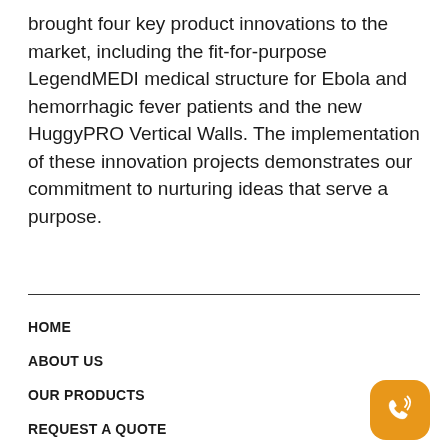brought four key product innovations to the market, including the fit-for-purpose LegendMEDI medical structure for Ebola and hemorrhagic fever patients and the new HuggyPRO Vertical Walls. The implementation of these innovation projects demonstrates our commitment to nurturing ideas that serve a purpose.
HOME
ABOUT US
OUR PRODUCTS
REQUEST A QUOTE
PRIVACY POLICY